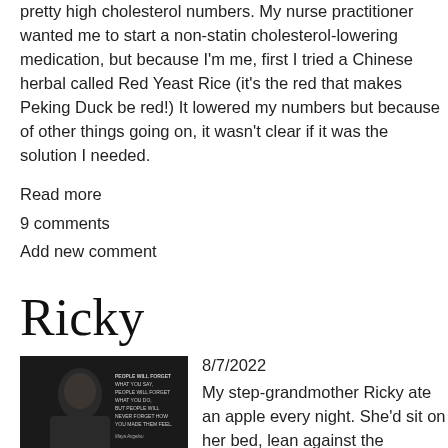pretty high cholesterol numbers. My nurse practitioner wanted me to start a non-statin cholesterol-lowering medication, but because I'm me, first I tried a Chinese herbal called Red Yeast Rice (it's the red that makes Peking Duck be red!) It lowered my numbers but because of other things going on, it wasn't clear if it was the solution I needed.
Read more
9 comments
Add new comment
Ricky
8/7/2022
[Figure (photo): Dark image of a person with a motivational quote overlay attributed to Maya Angelou about how people will never forget how you made them feel.]
My step-grandmother Ricky ate an apple every night. She'd sit on her bed, lean against the headboard, then chomp the apple after which she would remove her false teeth and lay down to sleep.
I haven't really thought about Ricky in years but this week for no identifiable reason (because we were talking about unsung aspects of our lives?) I dreamed about her. I awoke one